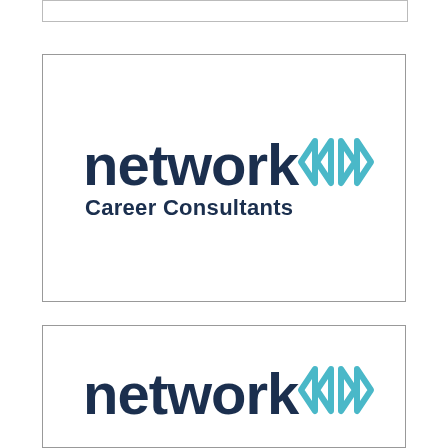[Figure (logo): Network Career Consultants logo - large version. Text 'network' in dark navy bold font with angular bracket symbols in teal/cyan to the right, and 'Career Consultants' in dark navy below.]
[Figure (logo): Network Career Consultants logo - smaller/partial version. Text 'network' in dark navy bold font with angular bracket symbols in teal/cyan to the right, partially cropped.]